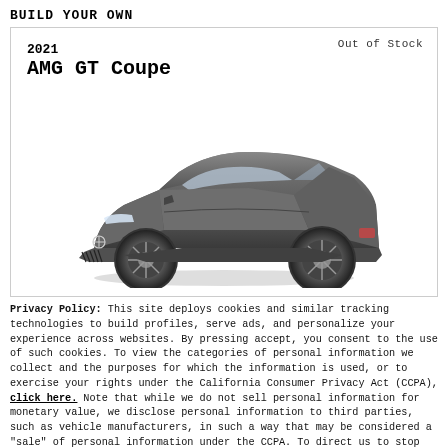BUILD YOUR OWN
Out of Stock
2021
AMG GT Coupe
[Figure (photo): 2021 Mercedes-AMG GT Coupe in dark grey, shown in 3/4 front-left view]
Privacy Policy: This site deploys cookies and similar tracking technologies to build profiles, serve ads, and personalize your experience across websites. By pressing accept, you consent to the use of such cookies. To view the categories of personal information we collect and the purposes for which the information is used, or to exercise your rights under the California Consumer Privacy Act (CCPA), click here. Note that while we do not sell personal information for monetary value, we disclose personal information to third parties, such as vehicle manufacturers, in such a way that may be considered a "sale" of personal information under the CCPA. To direct us to stop the sale of your personal information, or to re-access these settings or disclosures at any time, click the following icon or link:
Do Not Sell My Personal Information